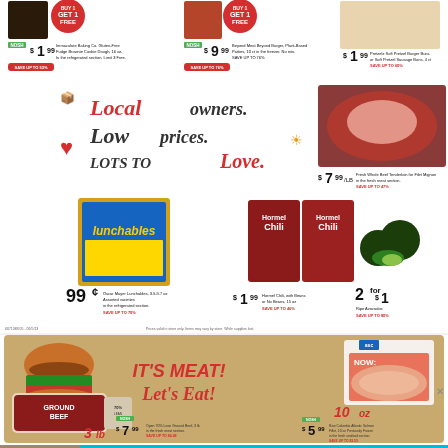[Figure (photo): Buy 1 Get 1 Free badge with brownie cookie dough product]
NOSH $1.99 Immaculate Baking Co. Gluten-Free Fudge Brownie Cookie Dough, 16 oz. SAVE UP TO 53%
[Figure (photo): Buy 1 Get 1 Free badge with Beyond Meat burger patties]
NOSH $9.99 Beyond Meat Beyond Burger, Plant-Based Patties, 10 ct in the freezer. No min. SAVE UP TO 76%
[Figure (photo): Pretzel burger buns product image]
$1.99 Pretzelz Soft Pretzel Burger Buns or Soft Pretzel Sausage Buns, 4 ct SAVE UP TO 60%
Local OWNERS. Low PRICES. LOTS TO Love.
[Figure (photo): Fresh whole beef tenderloin for filet mignon]
$7.99/LB Fresh Whole Beef Tenderloin for Filet Mignon in the fresh meat section. SAVE UP TO 47%
[Figure (photo): Oscar Mayer Lunchables package]
99¢ Oscar Mayer Lunchables, 3.9-9.7 oz Assorted varieties in the refrigerated section. SAVE UP TO 70%
[Figure (photo): Two Hormel Chili cans - with beans and no beans]
$1.99 Hormel Chili, with Beans or No Beans, 15 oz SAVE UP TO 46%
[Figure (photo): Ripe avocados, whole and halved]
2 for $1 Ripe Avocados SAVE UP TO 80%
Prices valid in store only. Items may vary by store. While supplies last.
[Figure (photo): IT'S MEAT! Let's Eat! promotional banner with ground beef roll and hamburger]
NOSH $7.99 Open 70% Lean Ground Beef, 3 lb in the fresh meat section. SAVE UP TO $4.49
NOSH $5.99 Raw Columbia Atlantic Salmon Fillet, 10 oz Previously Frozen in the fresh seafood section. SAVE UP TO $3.53
[Figure (advertisement): SHE media partner network - Earning site & social revenue. Learn More. Become a member.]